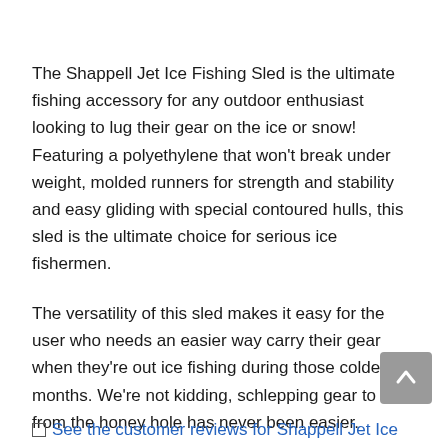The Shappell Jet Ice Fishing Sled is the ultimate fishing accessory for any outdoor enthusiast looking to lug their gear on the ice or snow! Featuring a polyethylene that won't break under weight, molded runners for strength and stability and easy gliding with special contoured hulls, this sled is the ultimate choice for serious ice fishermen.
The versatility of this sled makes it easy for the user who needs an easier way carry their gear when they're out ice fishing during those colder months. We're not kidding, schlepping gear to and from the honey hole has never been easier.
See the customer reviews for Shappell Jet Ice...